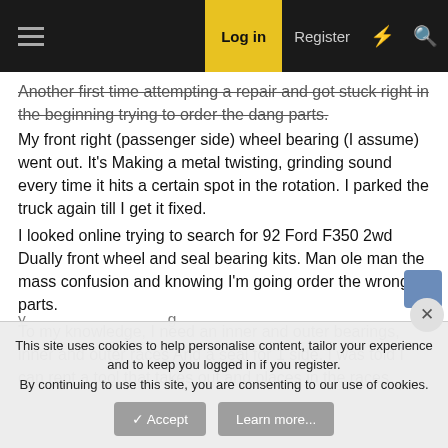Log in | Register
Another first time attempting a repair and got stuck right in the beginning trying to order the dang parts.
My front right (passenger side) wheel bearing (I assume) went out. It's Making a metal twisting, grinding sound every time it hits a certain spot in the rotation. I parked the truck again till I get it fixed.
I looked online trying to search for 92 Ford F350 2wd Dually front wheel and seal bearing kits. Man ole man the mass confusion and knowing I'm going order the wrong parts.
To my knowledge, I need an inner and outer bearings, inner and outer races And a seal for 1 side. I was told I can rent a tool that takes out and places in the races.
This site uses cookies to help personalise content, tailor your experience and to keep you logged in if you register.
By continuing to use this site, you are consenting to our use of cookies.